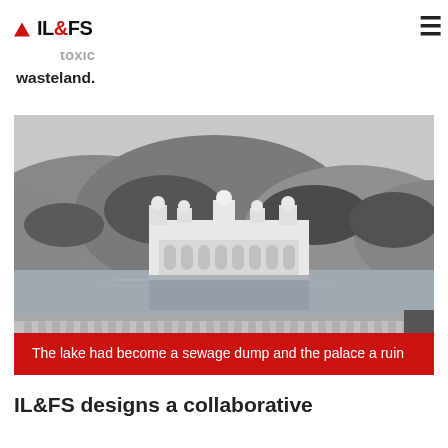IL&FS
keep a popular destination of natural and architectural beauty was instead a smelly, toxic wasteland.
[Figure (photo): Black and white photograph of Jal Mahal (Water Palace) in Jaipur, India, partially submerged in Man Sagar Lake with the Aravalli hills in the background and a stone balustrade in the foreground.]
The lake had become a sewage dump and the palace a ruin
IL&FS designs a collaborative